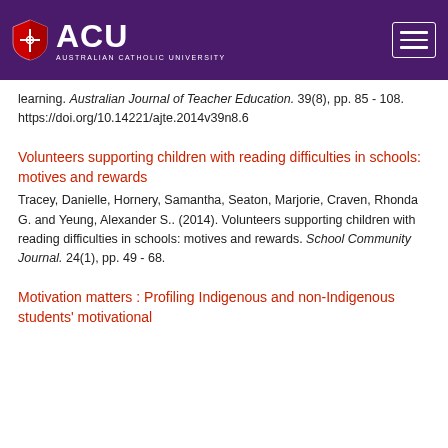[Figure (logo): ACU (Australian Catholic University) logo with shield and navigation hamburger menu on purple header bar]
learning. Australian Journal of Teacher Education. 39(8), pp. 85 - 108. https://doi.org/10.14221/ajte.2014v39n8.6
Volunteers supporting children with reading difficulties in schools: motives and rewards
Tracey, Danielle, Hornery, Samantha, Seaton, Marjorie, Craven, Rhonda G. and Yeung, Alexander S.. (2014). Volunteers supporting children with reading difficulties in schools: motives and rewards. School Community Journal. 24(1), pp. 49 - 68.
Motivation matters : Profiling Indigenous and non-Indigenous students' motivational